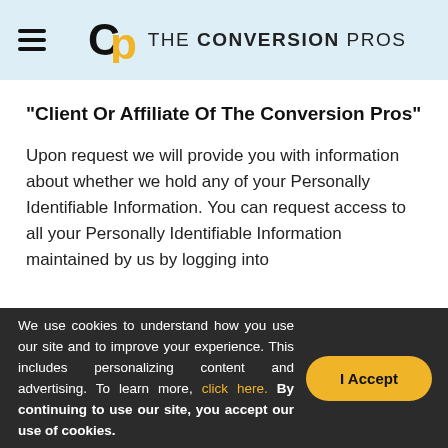THE CONVERSION PROS
"Client Or Affiliate Of The Conversion Pros"
Upon request we will provide you with information about whether we hold any of your Personally Identifiable Information. You can request access to all your Personally Identifiable Information maintained by us by logging into
We use cookies to understand how you use our site and to improve your experience. This includes personalizing content and advertising. To learn more, click here. By continuing to use our site, you accept our use of cookies.